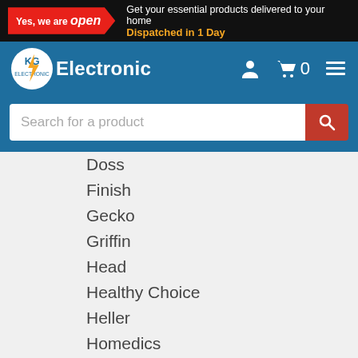[Figure (screenshot): KG Electronic website header with 'Yes, we are open' badge and dispatch message, navigation bar with logo and icons, search bar, and a brand list including Doss, Finish, Gecko, Griffin, Head, Healthy Choice, Heller, Homedics, John Deere, Kensington, Klipsch, Laser, Lenoxx, Lifeproof]
Get your essential products delivered to your home
Dispatched in 1 Day
KG Electronic
Search for a product
Doss
Finish
Gecko
Griffin
Head
Healthy Choice
Heller
Homedics
John Deere
Kensington
Klipsch
Laser
Lenoxx
Lifeproof